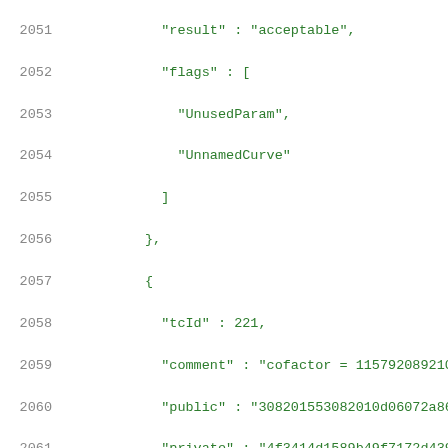Code listing lines 2051-2072 showing JSON test vector data with tcId, comment, public, private, shared, result, and flags fields